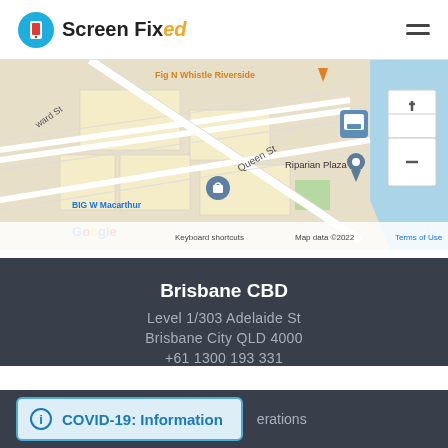Screen Fixed
[Figure (map): Google Maps screenshot showing Brisbane CBD area with streets including Queen St, Riparian Plaza, BIG W Macarthur, Fig N Whistle Riverside. Map data ©2022.]
Brisbane CBD
Level 1/303 Adelaide St
Brisbane City QLD 4000
+61 1300 193 331
COVID-19: Information  erations